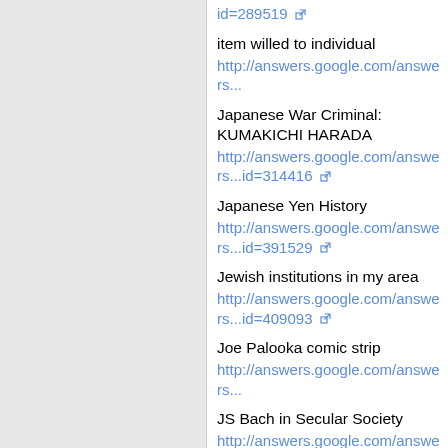id=289519 [external link]
item willed to individual
http://answers.google.com/answers...
Japanese War Criminal: KUMAKICHI HARADA
http://answers.google.com/answers...id=314416 [external link]
Japanese Yen History
http://answers.google.com/answers...id=391529 [external link]
Jewish institutions in my area
http://answers.google.com/answers...id=409093 [external link]
Joe Palooka comic strip
http://answers.google.com/answers...
JS Bach in Secular Society
http://answers.google.com/answers...